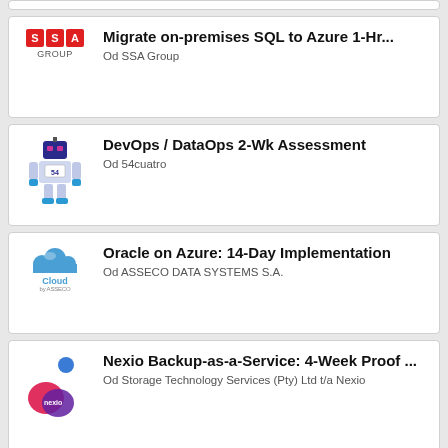Migrate on-premises SQL to Azure 1-Hr... Od SSA Group
DevOps / DataOps 2-Wk Assessment Od 54cuatro
Oracle on Azure: 14-Day Implementation Od ASSECO DATA SYSTEMS S.A.
Nexio Backup-as-a-Service: 4-Week Proof ... Od Storage Technology Services (Pty) Ltd t/a Nexio